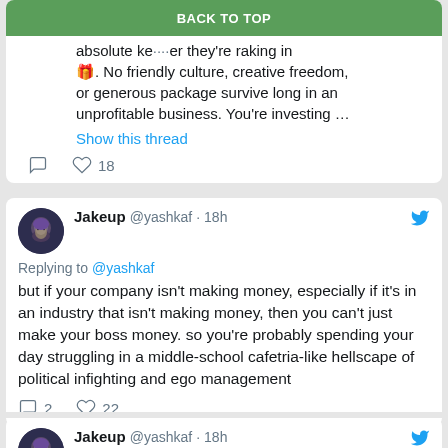BACK TO TOP
absolute ke... er they're raking in 🎁. No friendly culture, creative freedom, or generous package survive long in an unprofitable business. You're investing …
Show this thread
18 likes
Jakeup @yashkaf · 18h
Replying to @yashkaf
but if your company isn't making money, especially if it's in an industry that isn't making money, then you can't just make your boss money. so you're probably spending your day struggling in a middle-school cafetria-like hellscape of political infighting and ego management
2 comments, 22 likes
Jakeup @yashkaf · 18h